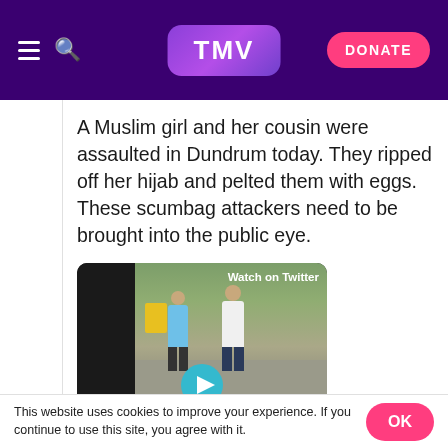TMV — DONATE
A Muslim girl and her cousin were assaulted in Dundrum today. They ripped off her hijab and pelted them with eggs. These scumbag attackers need to be brought into the public eye.
[Figure (screenshot): Embedded Twitter video showing people on a street with a 'Watch on Twitter' label and a play button]
This website uses cookies to improve your experience. If you continue to use this site, you agree with it.